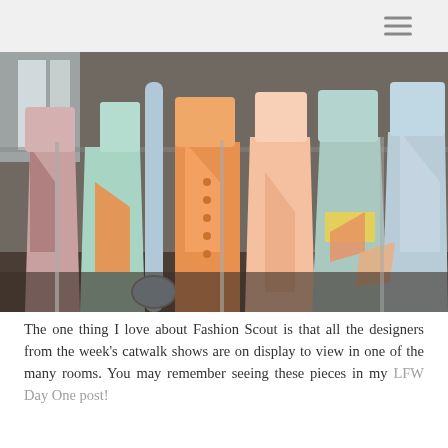[Figure (photo): Colorful fashion garments hanging on clothing racks, featuring pastel tones of pink, mint green, orange, and yellow — backstage fashion show display.]
The one thing I love about Fashion Scout is that all the designers from the week's catwalk shows are on display to view in one of the many rooms. You may remember seeing these pieces in my LFW Day One post!